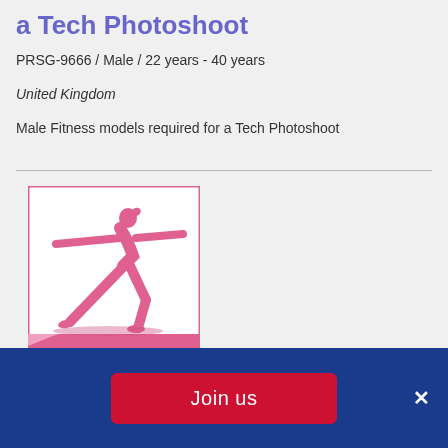a Tech Photoshoot
PRSG-9666 / Male / 22 years - 40 years
United Kingdom
Male Fitness models required for a Tech Photoshoot
[Figure (illustration): Fitness category illustration: silhouette of a woman in a warrior yoga pose in pink, with the word FITNESS in white bold text on a pink banner at the bottom, inside a white-bordered pink rectangle.]
Join us